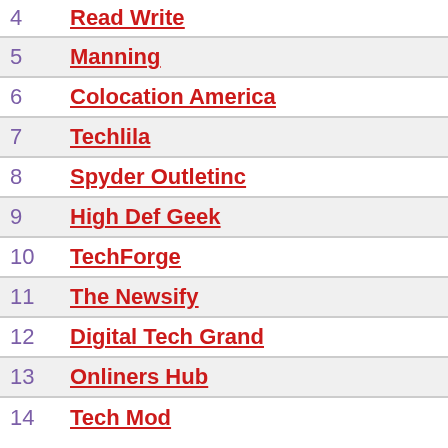4  Read Write
5  Manning
6  Colocation America
7  Techlila
8  Spyder Outletinc
9  High Def Geek
10  TechForge
11  The Newsify
12  Digital Tech Grand
13  Onliners Hub
14  Tech Mod